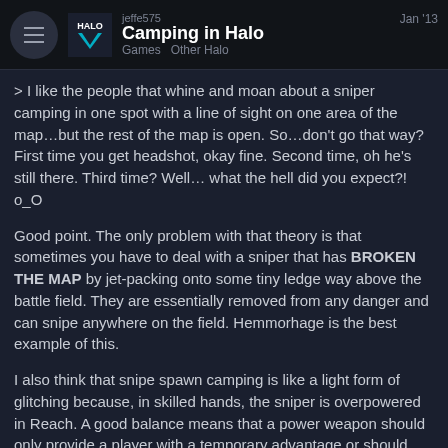Camping in Halo | jeffe575 | Games Other Halo | Jan '13
> I like the people that whine and moan about a sniper camping in one spot with a line of sight on one area of the map…but the rest of the map is open. So…don't go that way? First time you get headshot, okay fine. Second time, oh he's still there. Third time? Well… what the hell did you expect?! o_O
Good point. The only problem with that theory is that sometimes you have to deal with a sniper that has BROKEN THE MAP by jet-packing onto some tiny ledge way above the battle field. They are essentially removed from any danger and can snipe anywhere on the field. Hemmorhage is the best example of this.
I also think that snipe spawn camping is like a light form of glitching because, in skilled hands, the sniper is overpowered in Reach. A good balance means that a power weapon should only provide a player with a temporary advantage or should come at some cost in vulnerability (like the plasma canon).
Instead, the sniper is so advantageous that a
17 / 17